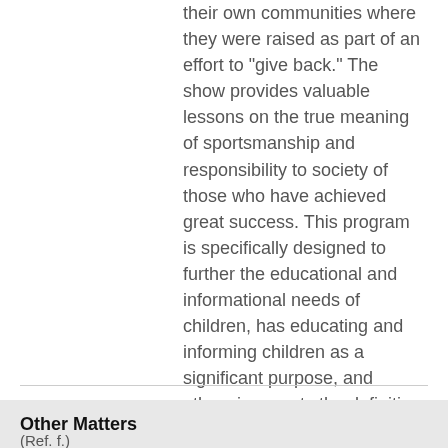their own communities where they were raised as part of an effort to "give back." The show provides valuable lessons on the true meaning of sportsmanship and responsibility to society of those who have achieved great success. This program is specifically designed to further the educational and informational needs of children, has educating and informing children as a significant purpose, and otherwise meets the definition of Core Programming as specified in the Commission's rules.
Other Matters